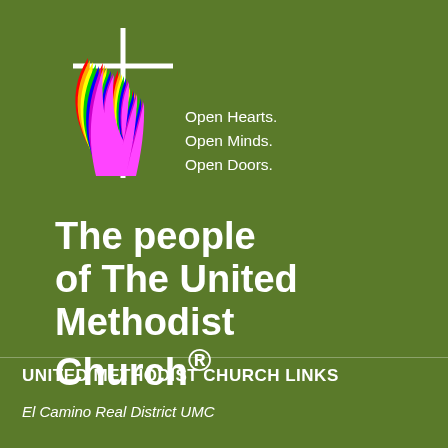[Figure (logo): United Methodist Church logo: rainbow flame and cross on olive green background]
Open Hearts.
Open Minds.
Open Doors.
The people of The United Methodist Church®
UNITED METHODIST CHURCH LINKS
El Camino Real District UMC